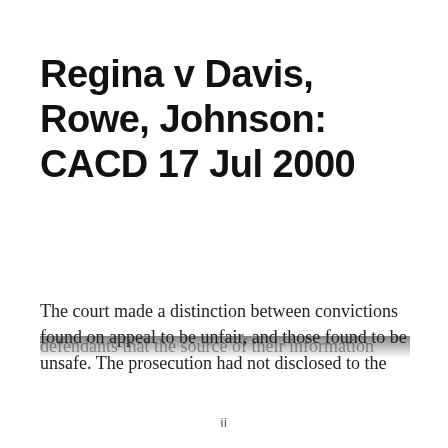Regina v Davis, Rowe, Johnson: CACD 17 Jul 2000
The court made a distinction between convictions found on appeal to be unfair, and those found to be unsafe. The prosecution had not disclosed to the defendants that the source of their information...
ii